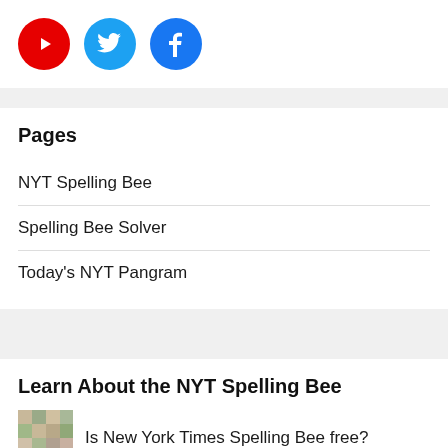[Figure (infographic): Three social media icon circles: YouTube (red), Twitter (light blue), Facebook (blue)]
Pages
NYT Spelling Bee
Spelling Bee Solver
Today's NYT Pangram
Learn About the NYT Spelling Bee
Is New York Times Spelling Bee free?